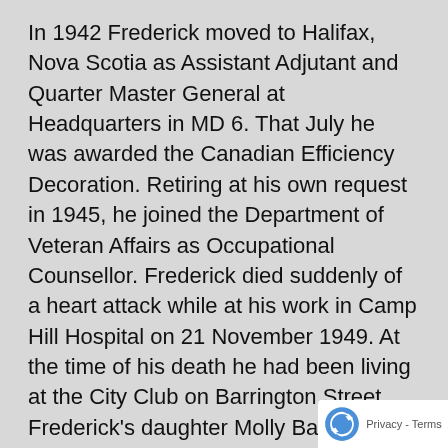In 1942 Frederick moved to Halifax, Nova Scotia as Assistant Adjutant and Quarter Master General at Headquarters in MD 6. That July he was awarded the Canadian Efficiency Decoration. Retiring at his own request in 1945, he joined the Department of Veteran Affairs as Occupational Counsellor. Frederick died suddenly of a heart attack while at his work in Camp Hill Hospital on 21 November 1949. At the time of his death he had been living at the City Club on Barrington Street. Frederick's daughter Molly Baffino of New York was the informant on his Nova Scotia Death record although it indicated that he was still married to Annie. Frederick was predeceased by his mother Louisa in 1923 and father Samuel in 1934, both in Gloucestershire, and his brother Sidney in 1948 in Warwickshire. It appears that Annie later died in Newark on Trent in Nottinghamshire on 6 Oc... 1977. Frederick and Annie's daughter Molly North S... died on 2 April 2010 in Vero Beach, Florida, her obituary